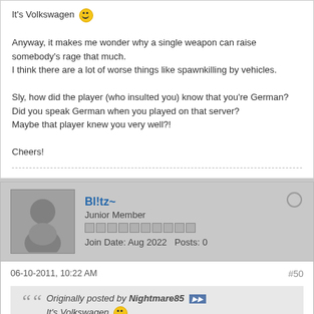It's Volkswagen 🙂

Anyway, it makes me wonder why a single weapon can raise somebody's rage that much.
I think there are a lot of worse things like spawnkilling by vehicles.

Sly, how did the player (who insulted you) know that you're German?
Did you speak German when you played on that server?
Maybe that player knew you very well?!

Cheers!
Bl!tz~
Junior Member
Join Date: Aug 2022  Posts: 0
06-10-2011, 10:22 AM
#50
Originally posted by Nightmare85
It's Volkswagen 🙂
lol ...ooops 🙂